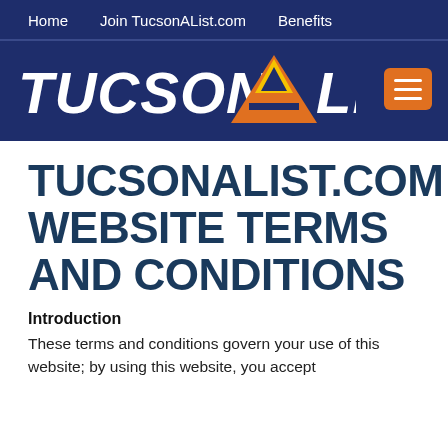Home   Join TucsonAList.com   Benefits
[Figure (logo): TucsonAList.com logo with large stylized orange and yellow letter A, white bold text, on dark navy background, with orange hamburger menu icon]
TUCSONALIST.COM WEBSITE TERMS AND CONDITIONS
Introduction
These terms and conditions govern your use of this website; by using this website, you accept